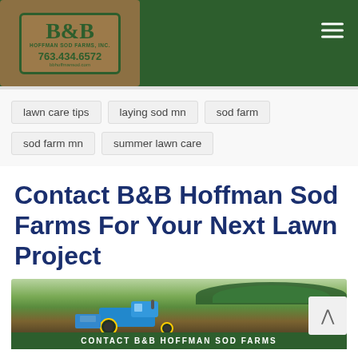[Figure (logo): B&B Hoffman Sod Farms Inc. logo on burlap background with phone number 763.434.6572]
lawn care tips
laying sod mn
sod farm
sod farm mn
summer lawn care
Contact B&B Hoffman Sod Farms For Your Next Lawn Project
[Figure (photo): A tractor harvesting sod on a farm field with trees in background and a green banner at bottom reading CONTACT B&B HOFFMAN SOD FARMS]